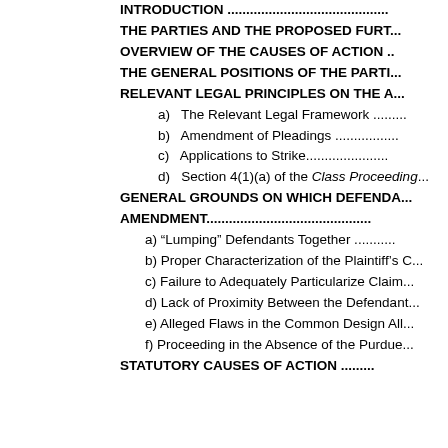INTRODUCTION .......................................
THE PARTIES AND THE PROPOSED FURT...
OVERVIEW OF THE CAUSES OF ACTION ..
THE GENERAL POSITIONS OF THE PARTI...
RELEVANT LEGAL PRINCIPLES ON THE A...
a)    The Relevant Legal Framework ..........
b)    Amendment of Pleadings ..................
c)    Applications to Strike.......................
d)    Section 4(1)(a) of the Class Proceeding...
GENERAL GROUNDS ON WHICH DEFENDA... AMENDMENT.......................................
a) “Lumping” Defendants Together ...........
b) Proper Characterization of the Plaintiff’s C...
c) Failure to Adequately Particularize Claim...
d) Lack of Proximity Between the Defendant...
e) Alleged Flaws in the Common Design All...
f) Proceeding in the Absence of the Purdue...
STATUTORY CAUSES OF ACTION .........